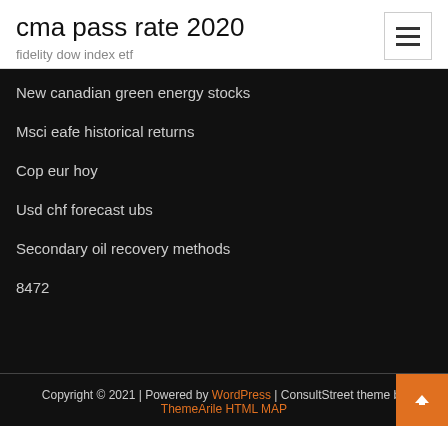cma pass rate 2020
fidelity dow index etf
New canadian green energy stocks
Msci eafe historical returns
Cop eur hoy
Usd chf forecast ubs
Secondary oil recovery methods
8472
Copyright © 2021 | Powered by WordPress | ConsultStreet theme by ThemeArile HTML MAP